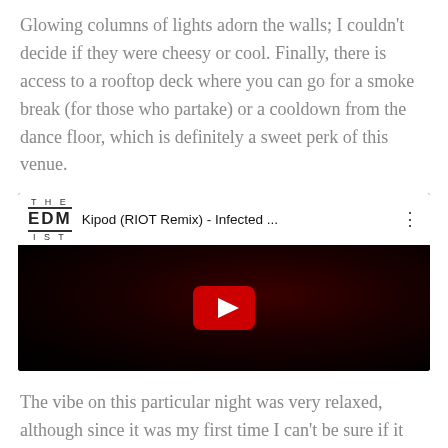Glowing columns of lights adorn the walls; I couldn't decide if they were cheesy or cool. Finally, there is access to a rooftop deck where you can go for a smoke break (for those who partake) or a cooldown from the dance floor, which is definitely a sweet perk of this venue.
[Figure (screenshot): YouTube video embed showing 'Kipod (RIOT Remix) - Infected ...' with The EDM IST logo, dark nightclub concert scene thumbnail with red YouTube play button overlay]
The vibe on this particular night was very relaxed, although since it was my first time I can't be sure if it